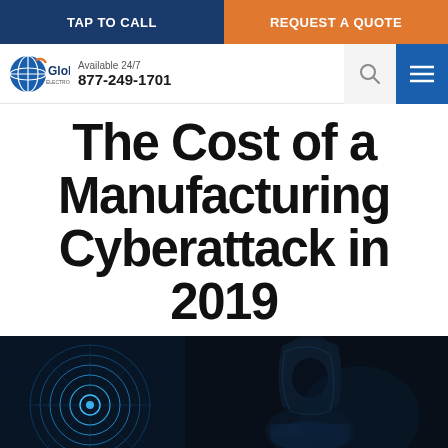TAP TO CALL | REQUEST A QUOTE
[Figure (logo): Global Electronic Services Inc. logo with globe icon, 'Available 24/7', phone number 877-249-1701, search icon, and menu icon]
The Cost of a Manufacturing Cyberattack in 2019
[Figure (photo): Dark cyber security themed image: left side shows a glowing blue circuit/radar circular graphic, right side shows a hooded figure (hacker) at a computer in a dark blue-tinted environment]
Call for Help